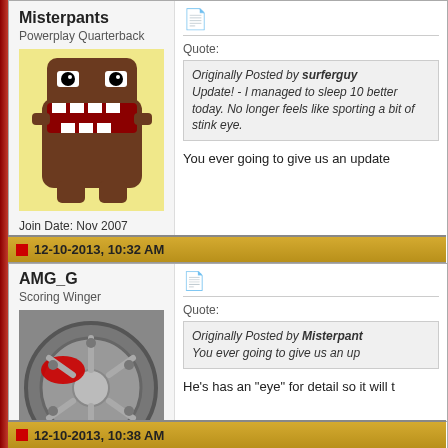Misterpants
Powerplay Quarterback
[Figure (illustration): Domo-kun cartoon character avatar on yellow background]
Join Date: Nov 2007
Exp: [5 red blocks]
Quote: Originally Posted by surferguy Update! - I managed to sleep 10 better today. No longer feels like sporting a bit of stink eye.
You ever going to give us an update
12-10-2013, 10:32 AM
AMG_G
Scoring Winger
[Figure (photo): Car wheel with red brake caliper photo]
Join Date: Oct 2010
Exp: [4 red blocks]
Quote: Originally Posted by Misterpant You ever going to give us an up
He's has an "eye" for detail so it will t
12-10-2013, 10:38 AM